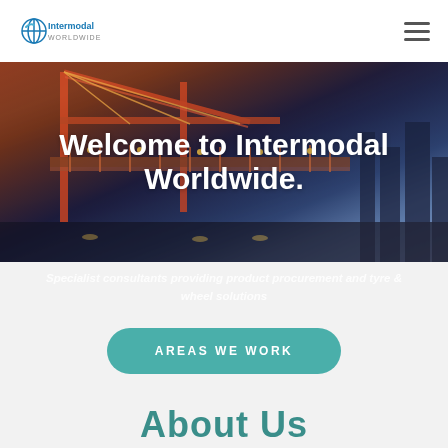Intermodal Worldwide — navigation bar with logo and hamburger menu
[Figure (photo): Industrial port scene with cranes and steel structures against a purple-blue twilight sky with city lights in background]
Welcome to Intermodal Worldwide.
Specialist consultants providing product procurement and tyre & wheel solutions
AREAS WE WORK
About Us